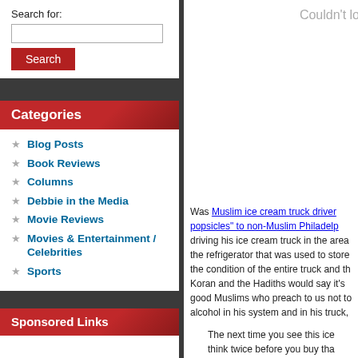Search for:
Search
Categories
Blog Posts
Book Reviews
Columns
Debbie in the Media
Movie Reviews
Movies & Entertainment / Celebrities
Sports
Sponsored Links
Couldn't lo
Was Muslim ice cream truck driver popsicles" to non-Muslim Philadelp driving his ice cream truck in the area the refrigerator that was used to store the condition of the entire truck and th Koran and the Hadiths would say it's good Muslims who preach to us not to alcohol in his system and in his truck,
The next time you see this ice think twice before you buy tha